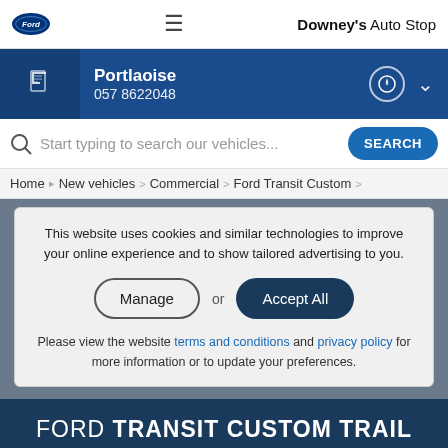Downey's Auto Stop
Portlaoise
057 8622048
Start typing to search our vehicles...
Home > New vehicles > Commercial > Ford Transit Custom >
This website uses cookies and similar technologies to improve your online experience and to show tailored advertising to you.
Manage or Accept All
Please view the website terms and conditions and privacy policy for more information or to update your preferences.
FORD TRANSIT CUSTOM TRAIL